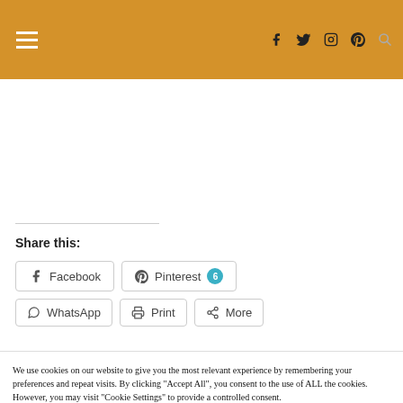Navigation header with hamburger menu, social icons (Facebook, Twitter, Instagram, Pinterest), and search icon
Share this:
Facebook | Pinterest 6 | WhatsApp | Print | More
We use cookies on our website to give you the most relevant experience by remembering your preferences and repeat visits. By clicking "Accept All", you consent to the use of ALL the cookies. However, you may visit "Cookie Settings" to provide a controlled consent.
Cookie Settings | Accept All